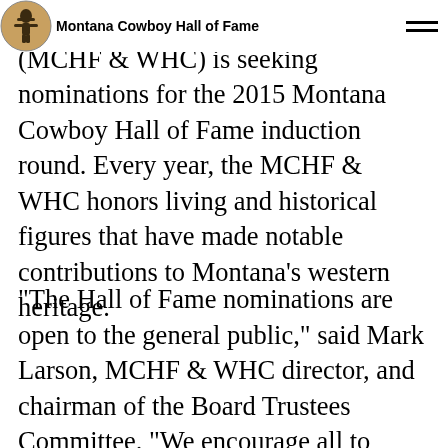Montana Cowboy Hall of Fame
Fame & Western Heritage Center (MCHF & WHC) is seeking nominations for the 2015 Montana Cowboy Hall of Fame induction round. Every year, the MCHF & WHC honors living and historical figures that have made notable contributions to Montana's western heritage.
“The Hall of Fame nominations are open to the general public,” said Mark Larson, MCHF & WHC director, and chairman of the Board Trustees Committee. “We encourage all to reflect on notable contributions to our western heritage and help us celebrate by nominating those from your community you believe